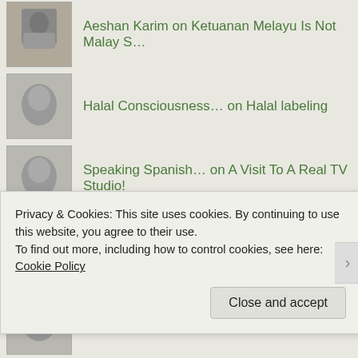Aeshan Karim on Ketuanan Melayu Is Not Malay S…
Halal Consciousness… on Halal labeling
Speaking Spanish… on A Visit To A Real TV Studio!
Friendship – A… on Uncle Nisar
Friendship – A… on Emotions
Oral Exam Adventure… on First Time On Air
Privacy & Cookies: This site uses cookies. By continuing to use this website, you agree to their use.
To find out more, including how to control cookies, see here: Cookie Policy
Close and accept